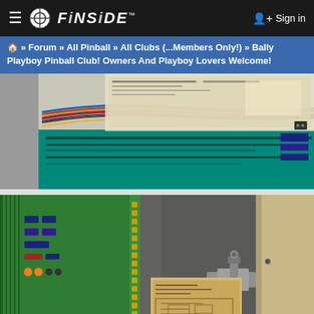FINSIDE — Sign in
🏠 » Forum » All Pinball » All Clubs (...Members Only!) » Bally Playboy Pinball Club! Owners And Playboy Lovers Welcome!
[Figure (photo): Close-up of pinball machine interior showing a teal/green circuit board with wiring harnesses, connector cables, and a wiring diagram sheet in the background.]
[Figure (photo): Interior of a pinball machine cabinet showing a green circuit board on the left, a metal panel/door in the center with a paper wiring schematic label attached, a metal bracket with a screw bolt, and a wooden side panel on the right.]